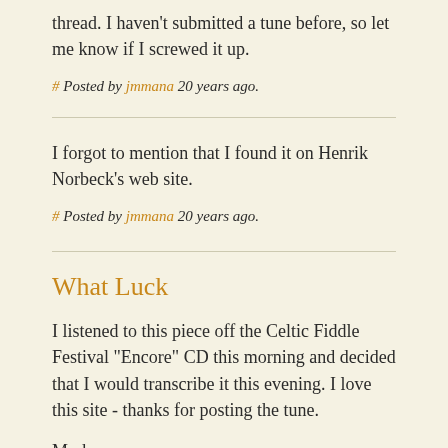thread. I haven't submitted a tune before, so let me know if I screwed it up.
# Posted by jmmana 20 years ago.
I forgot to mention that I found it on Henrik Norbeck's web site.
# Posted by jmmana 20 years ago.
What Luck
I listened to this piece off the Celtic Fiddle Festival "Encore" CD this morning and decided that I would transcribe it this evening. I love this site - thanks for posting the tune.
Mark